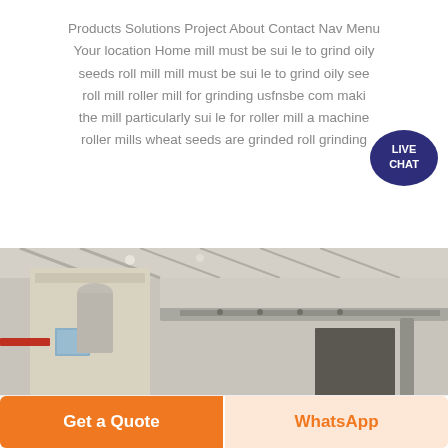Products Solutions Project About Contact Nav Menu Your location Home mill must be suite to grind oily seeds roll mill mill must be suite to grind oily seeds roll mill roller mill for grinding usfnsbe com making the mill particularly suite for roller mill a machine roller mills wheat seeds are grinded roll grinding
[Figure (photo): Interior of an industrial mill facility showing large beige-colored machinery/silos and overhead conveyor structure inside a warehouse with metal roof trusses.]
Get a Quote
WhatsApp